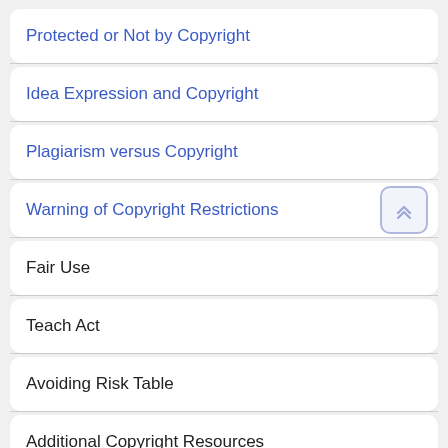Protected or Not by Copyright
Idea Expression and Copyright
Plagiarism versus Copyright
Warning of Copyright Restrictions
Fair Use
Teach Act
Avoiding Risk Table
Additional Copyright Resources